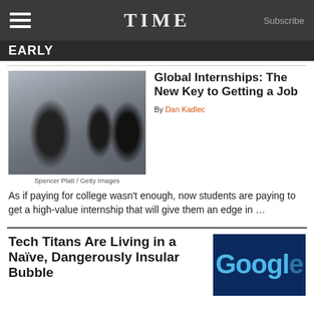TIME  Subscribe
Global Internships: The New Key to Getting a Job
By Dan Kadlec
[Figure (photo): People walking in an urban setting, photo by Spencer Platt / Getty Images]
Spencer Platt / Getty Images
As if paying for college wasn't enough, now students are paying to get a high-value internship that will give them an edge in …
Tech Titans Are Living in a Naïve, Dangerously Insular Bubble
[Figure (photo): Google logo sign with person below, photo]